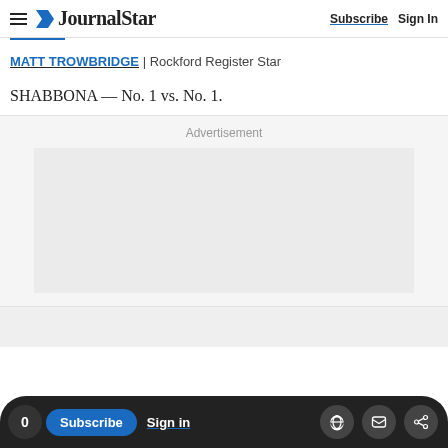JournalStar | Subscribe  Sign In
MATT TROWBRIDGE | Rockford Register Star
SHABBONA — No. 1 vs. No. 1.
[Figure (other): Advertisement placeholder block with gray background]
0  Subscribe  Sign in